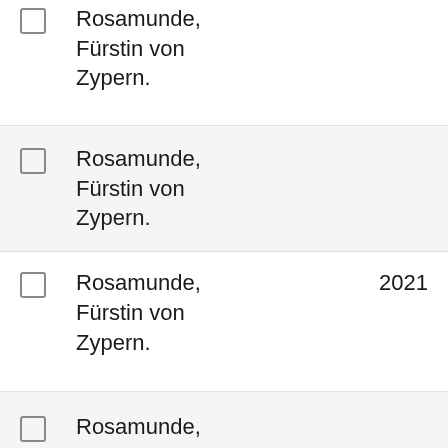Rosamunde, Fürstin von Zypern.
Rosamunde, Fürstin von Zypern.
Rosamunde, Fürstin von Zypern. 2021
Rosamunde, Fürstin von Zypern.